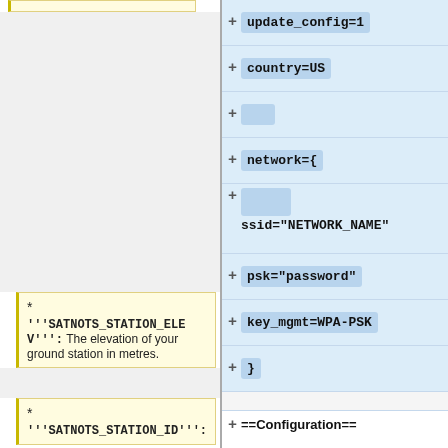* '''SATNOTS_STATION_ELEV''': The elevation of your ground station in metres.
* '''SATNOTS_STATION_ID''':
+ update_config=1
+ country=US
+
+ network={
+ ssid="NETWORK_NAME"
+ psk="password"
+ key_mgmt=WPA-PSK
+ }
==Configuration==
===Raspberry Pi Setup===